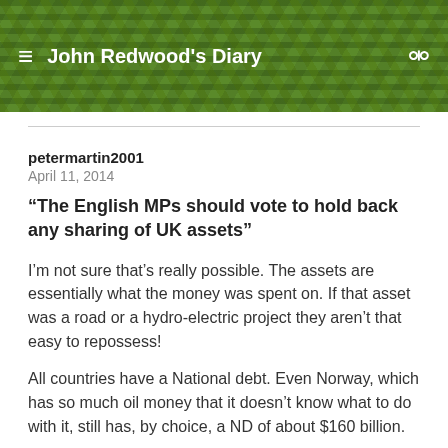John Redwood's Diary
petermartin2001
April 11, 2014
“The English MPs should vote to hold back any sharing of UK assets”
I’m not sure that’s really possible. The assets are essentially what the money was spent on. If that asset was a road or a hydro-electric project they aren’t that easy to repossess!
All countries have a National debt. Even Norway, which has so much oil money that it doesn’t know what to do with it, still has, by choice, a ND of about $160 billion.